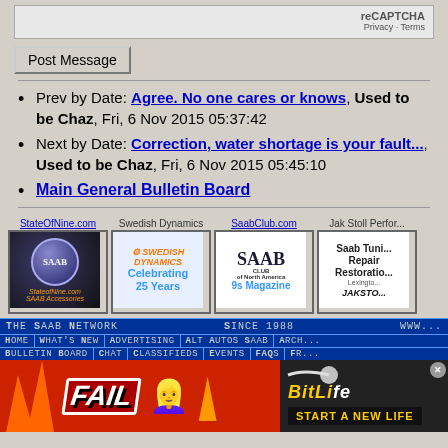[Figure (other): reCAPTCHA widget area with Privacy and Terms links]
[Figure (other): Post Message button]
Prev by Date: Agree. No one cares or knows, Used to be Chaz, Fri, 6 Nov 2015 05:37:42
Next by Date: Correction, water shortage is your fault..., Used to be Chaz, Fri, 6 Nov 2015 05:45:10
Main General Bulletin Board
[Figure (other): StateOfNine.com Saab accessories advertisement banner]
[Figure (other): Swedish Dynamics Celebrating 25 Years advertisement]
[Figure (other): SaabClub.com of North America 9s Magazine advertisement]
[Figure (other): Jak Stoll Performance Saab Tuning Repair Restoration advertisement]
The Saab Network  Since 1988  www...
Home | What's New | Advertising | Alt Autos Saab | Arch...
Bulletin Board | Chat | Classifieds | Events | FAQs | Fr...
[Figure (other): BitLife advertisement banner - FAIL, Start a New Life]